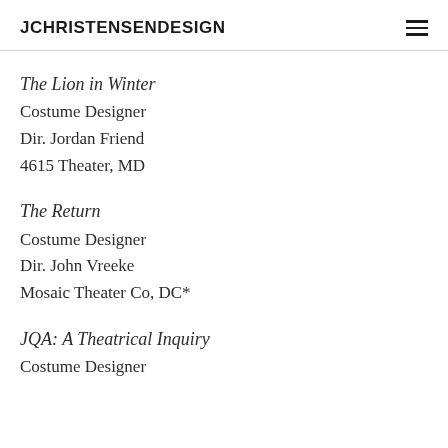JCHRISTENSENDESIGN
The Lion in Winter
Costume Designer
Dir. Jordan Friend
4615 Theater, MD
The Return
Costume Designer
Dir. John Vreeke
Mosaic Theater Co, DC*
JQA: A Theatrical Inquiry
Costume Designer